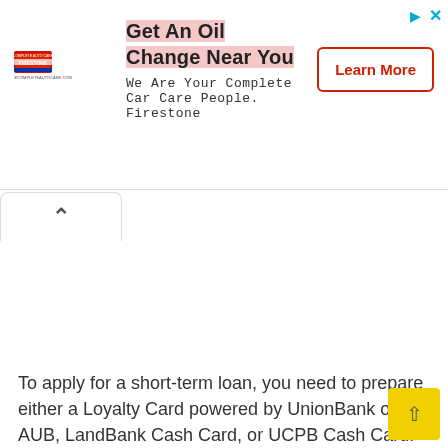[Figure (infographic): Firestone advertisement banner. Logo on left with text 'Get An Oil Change Near You' and subtext 'We Are Your Complete Car Care People. Firestone'. A red-bordered 'Learn More' button on the right. Ad attribution icons (triangle and X) in top-right corner.]
To apply for a short-term loan, you need to prepare either a Loyalty Card powered by UnionBank or AUB, LandBank Cash Card, or UCPB Cash Card.